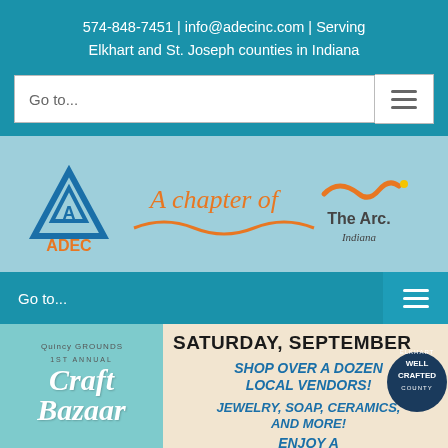574-848-7451 | info@adecinc.com | Serving Elkhart and St. Joseph counties in Indiana
[Figure (screenshot): Navigation bar with 'Go to...' input and hamburger menu icon]
[Figure (logo): ADEC logo with triangle icon and text 'A chapter of The Arc Indiana']
[Figure (screenshot): Second navigation bar with 'Go to...' text and hamburger menu icon on teal background]
[Figure (infographic): Craft Bazaar event flyer showing '1st Annual Craft Bazaar' on left with teal scalloped background, and event details on right including 'SATURDAY, SEPTEMBER', 'SHOP OVER A DOZEN LOCAL VENDORS!', 'JEWELRY, SOAP, CERAMICS, AND MORE!', 'ENJOY A BEVERAGE FROM', Elkhart Well Crafted County badge, and Translate button]
SATURDAY, SEPTEMBER
SHOP OVER A DOZEN LOCAL VENDORS!
JEWELRY, SOAP, CERAMICS, AND MORE!
ENJOY A BEVERAGE FROM
Translate »